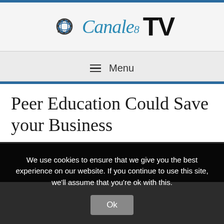Canale 8 TV
Menu
Peer Education Could Save your Business
We use cookies to ensure that we give you the best experience on our website. If you continue to use this site, we'll assume that you're ok with this. Ok